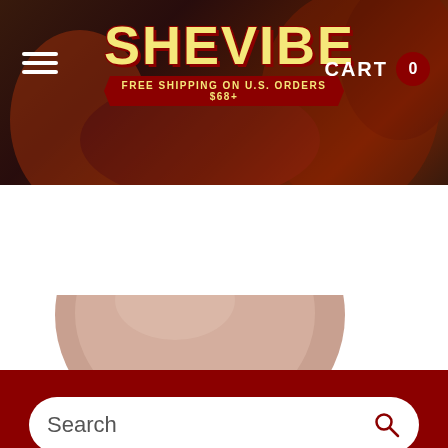[Figure (screenshot): SheVibe website header with logo, hamburger menu, cart icon showing 0 items, and decorative background]
CART 0
FREE SHIPPING ON U.S. ORDERS $68+
Search
[Figure (photo): Close-up product photo of a rose gold/mauve colored curved personal massager device against white background]
[Figure (photo): Thumbnail gallery showing 4 different angle views of the rose gold massager device, with a favorite/star button and next arrow navigation]